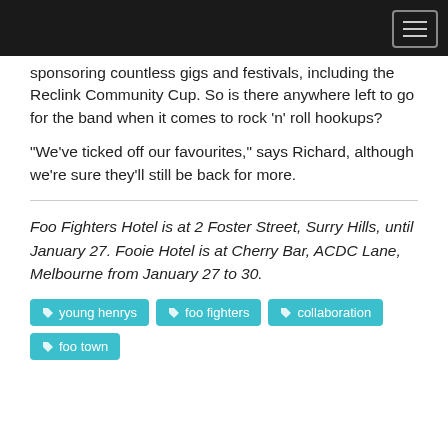sponsoring countless gigs and festivals, including the Reclink Community Cup. So is there anywhere left to go for the band when it comes to rock 'n' roll hookups?
"We've ticked off our favourites," says Richard, although we're sure they'll still be back for more.
Foo Fighters Hotel is at 2 Foster Street, Surry Hills, until January 27. Fooie Hotel is at Cherry Bar, ACDC Lane, Melbourne from January 27 to 30.
young henrys
foo fighters
collaboration
foo town